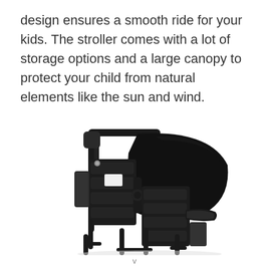design ensures a smooth ride for your kids. The stroller comes with a lot of storage options and a large canopy to protect your child from natural elements like the sun and wind.
[Figure (photo): A black double stroller viewed from the rear-side angle, showing a large canopy, padded seat backs, storage pockets on the sides, a tray/armrest on the right, and a folding frame with footrests.]
v